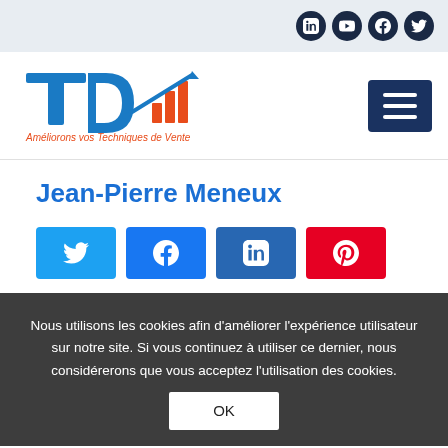Social icons: LinkedIn, YouTube, Facebook, Twitter
[Figure (logo): TDV logo with bar chart and arrow graphic, text 'Améliorons vos Techniques de Vente']
Jean-Pierre Meneux
[Figure (infographic): Share buttons: Twitter (blue), Facebook (blue), LinkedIn (dark blue), Pinterest (red)]
Nous utilisons les cookies afin d'améliorer l'expérience utilisateur sur notre site. Si vous continuez à utiliser ce dernier, nous considérerons que vous acceptez l'utilisation des cookies.